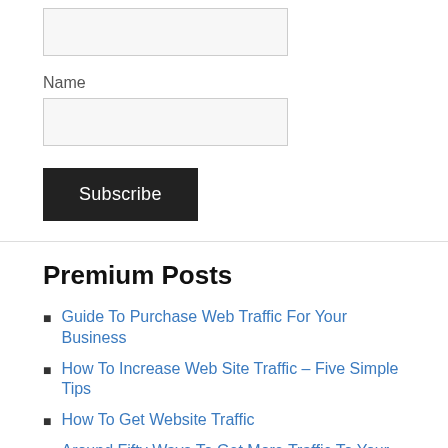[Figure (other): Empty input field (text box) with light gray background and border]
Name
[Figure (other): Empty input field (text box) with light gray background and border, labeled Name]
Subscribe
Premium Posts
Guide To Purchase Web Traffic For Your Business
How To Increase Web Site Traffic – Five Simple Tips
How To Get Website Traffic
Around Fifty Ways To Get More Traffic To Your